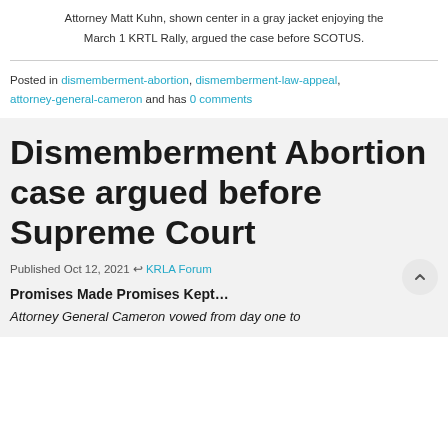Attorney Matt Kuhn, shown center in a gray jacket enjoying the March 1 KRTL Rally, argued the case before SCOTUS.
Posted in dismemberment-abortion, dismemberment-law-appeal, attorney-general-cameron and has 0 comments
Dismemberment Abortion case argued before Supreme Court
Published Oct 12, 2021 ↩ KRLA Forum
Promises Made Promises Kept…
Attorney General Cameron vowed from day one to